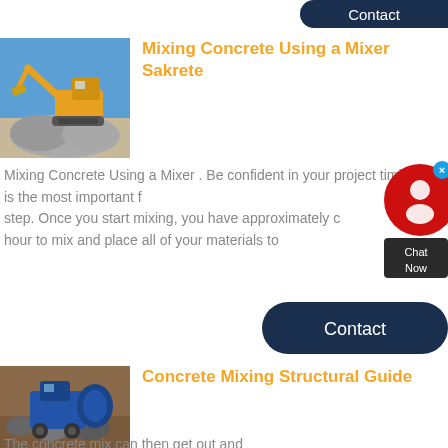[Figure (screenshot): Contact button at top right, dark navy rounded pill shape]
[Figure (photo): Yellow construction excavator/crusher machine with rocks and blue sky in background]
Mixing Concrete Using a Mixer Sakrete
Mixing Concrete Using a Mixer . Be confident in your project timing is the most important first step. Once you start mixing, you have approximately one hour to mix and place all of your materials to
[Figure (screenshot): Live chat widget with red circle icon, X close button and Chat Now label on dark background]
[Figure (screenshot): Contact button, dark navy rounded pill shape]
[Figure (photo): Blue concrete mixing machine outdoors on gravel/dirt ground]
Concrete Mixing Structural Guide
The concrete mix can then get out and